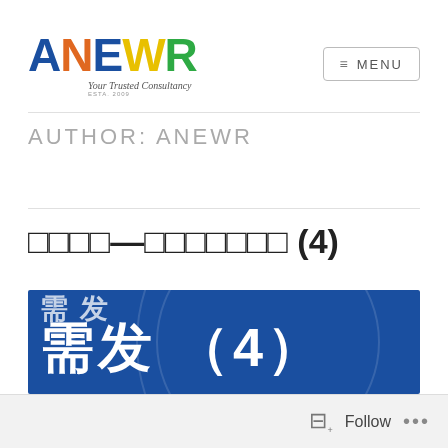[Figure (logo): ANEWR logo with colorful letters (blue A, orange N, blue E, yellow W, green W, blue R), tagline 'Your Trusted Consultancy']
≡ MENU
AUTHOR: ANEWR
□□□□—□□□□□□□ (4)
[Figure (photo): Blue background image with large white Chinese characters reading approximately '需发 (4)' and decorative arc lines]
Follow ...